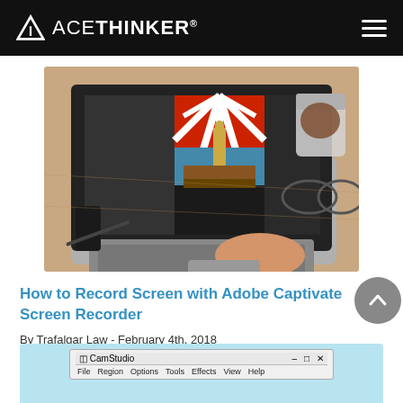ACETHINKER®
[Figure (photo): Laptop computer on a desk with Adobe Captivate software open on screen, person's hand on trackpad, coffee mug and glasses in background]
How to Record Screen with Adobe Captivate Screen Recorder
By Trafalgar Law - February 4th, 2018
[Figure (screenshot): CamStudio application window with menu bar showing File, Region, Options, Tools, Effects, View, Help]